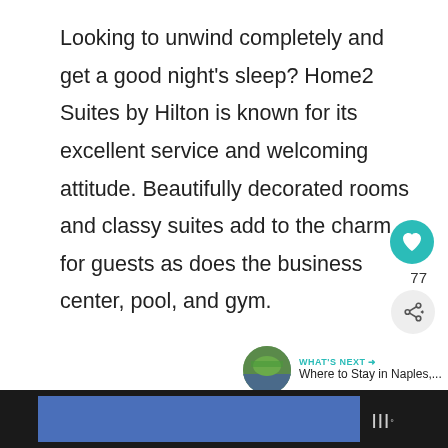Looking to unwind completely and get a good night's sleep? Home2 Suites by Hilton is known for its excellent service and welcoming attitude. Beautifully decorated rooms and classy suites add to the charm for guests as does the business center, pool, and gym.
[Figure (other): Like/heart button (teal circle with heart icon), like count 77, and share button below]
[Figure (other): WHAT'S NEXT arrow label with thumbnail image and text: Where to Stay in Naples,...]
[Figure (other): Bottom dark bar with blue rectangle advertisement area and logo mark on right]